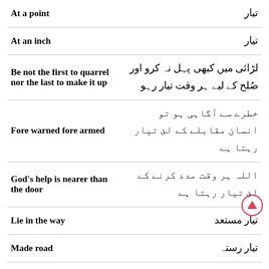| English | Urdu |
| --- | --- |
| At a point | تیار |
| At an inch | تیار |
| Be not the first to quarrel nor the last to make it up | لڑائی میں کبھی پہل نہ کرو اور صُلح کے لیے ہر وقت تیار رہو |
| Fore warned fore armed | خطرے سے آگاہی ہو تو انسان مقابلے کے لئ تیار رہتا ہے |
| God's help is nearer than the door | اللہ ہر وقت مدد کرنے کے لئ تیار رہتا ہے |
| Lie in the way | تیار مستعد |
| Made road | تیار رستہ |
| Made to measure | انفرادی ضرویات کے لیے |